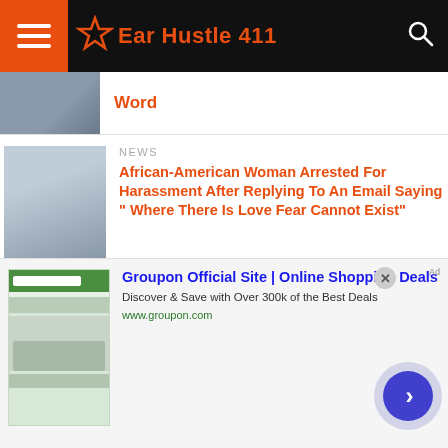Ear Hustle 411
[Figure (photo): Partial photo of a vehicle or street scene, top cropped]
Word
NEWS
[Figure (photo): Photo of a person at what appears to be a court or institutional setting]
African-American Woman Arrested For Harassment After Replying To An Email Saying " Where There Is Love Fear Cannot Exist"
NEWS
[Figure (photo): Mugshot-style photo of a man]
Man Follows Teenage Girl In Bathroom Stall & Her Father Beat Him To Death
[Figure (screenshot): Advertisement for Groupon Official Site showing Groupon logo and product images]
Groupon Official Site | Online Shopping Deals
Discover & Save with Over 300k of the Best Deals
www.groupon.com